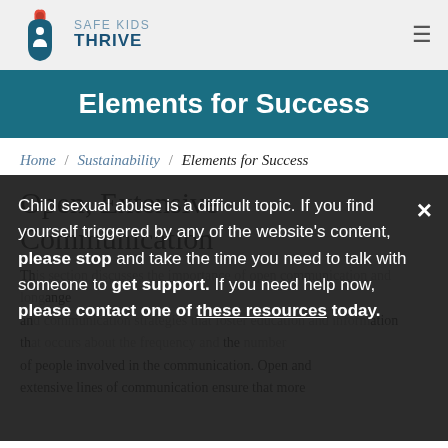[Figure (logo): Safe Kids Thrive logo with stylized figure icon and text 'SAFE KIDS THRIVE']
Elements for Success
Home / Sustainability / Elements for Success
Open, Extensive Communication
This section discusses open communication... and the number of people involved in the communication. Open and extensive lines of communication ensure that more
Child sexual abuse is a difficult topic. If you find yourself triggered by any of the website's content, please stop and take the time you need to talk with someone to get support. If you need help now, please contact one of these resources today.